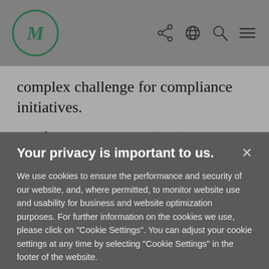M [logo] [share icon] [globe icon] [search icon] [menu icon]
complex challenge for compliance initiatives.
Artificial intelligence (AI) helps address these problems. AI is able to analyze the data and extract
Your privacy is important to us.
We use cookies to ensure the performance and security of our website, and, where permitted, to monitor website use and usability for business and website optimization purposes. For further information on the cookies we use, please click on "Cookie Settings". You can adjust your cookie settings at any time by selecting "Cookie Settings" in the footer of the website.
Cookie Settings | Accept All Cookies